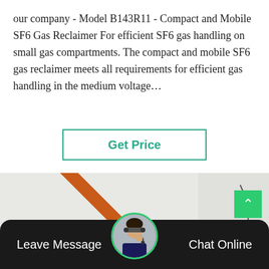our company - Model B143R11 - Compact and Mobile SF6 Gas Reclaimer For efficient SF6 gas handling on small gas compartments. The compact and mobile SF6 gas reclaimer meets all requirements for efficient gas handling in the medium voltage…
Get Price
[Figure (photo): Technician in blue work suit and hard hat sitting on large industrial SF6 gas equipment inside a room with orange structural beams and white walls.]
Leave Message
Chat Online